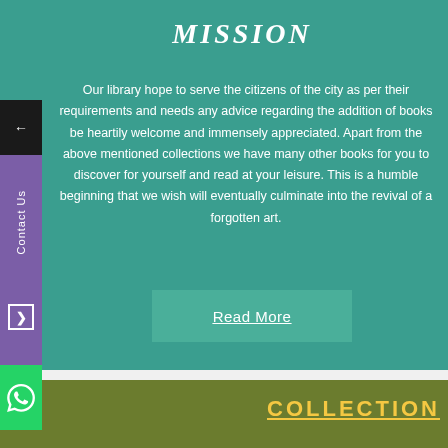MISSION
Our library hope to serve the citizens of the city as per their requirements and needs any advice regarding the addition of books be heartily welcome and immensely appreciated. Apart from the above mentioned collections we have many other books for you to discover for yourself and read at your leisure. This is a humble beginning that we wish will eventually culminate into the revival of a forgotten art.
Read More
COLLECTION